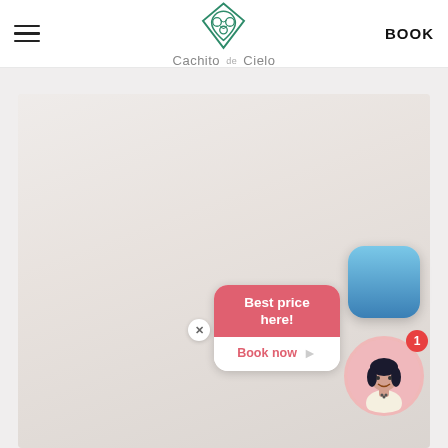[Figure (logo): Cachito de Cielo logo: green Celtic-knot heart shape above the text 'Cachito de Cielo']
BOOK
[Figure (photo): Faded/washed-out interior room photo, predominantly white and light beige tones, showing what appears to be a bedroom or living area]
[Figure (screenshot): Blue rounded-rectangle chat/booking widget button]
[Figure (infographic): Chat popup bubble with 'Best price here!' in red/salmon background and 'Book now' with arrow in white, plus close X button, and animated avatar with notification badge showing '1']